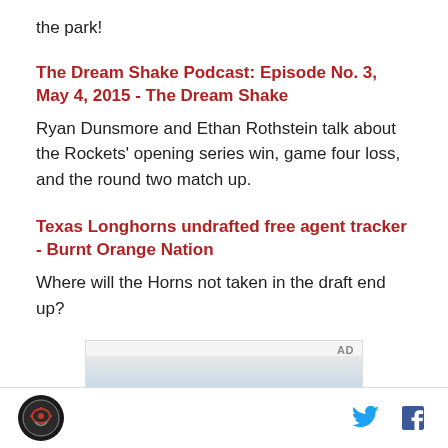the park!
The Dream Shake Podcast: Episode No. 3, May 4, 2015 - The Dream Shake
Ryan Dunsmore and Ethan Rothstein talk about the Rockets' opening series win, game four loss, and the round two match up.
Texas Longhorns undrafted free agent tracker - Burnt Orange Nation
Where will the Horns not taken in the draft end up?
[Figure (other): Advertisement box with AD label and partial building/skyline photo]
Footer with site logo and social media icons for Twitter and Facebook